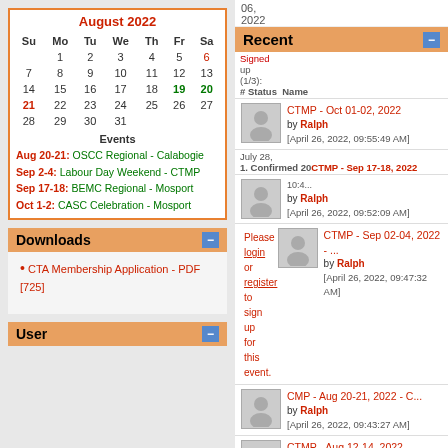| Su | Mo | Tu | We | Th | Fr | Sa |
| --- | --- | --- | --- | --- | --- | --- |
|  | 1 | 2 | 3 | 4 | 5 | 6 |
| 7 | 8 | 9 | 10 | 11 | 12 | 13 |
| 14 | 15 | 16 | 17 | 18 | 19 | 20 |
| 21 | 22 | 23 | 24 | 25 | 26 | 27 |
| 28 | 29 | 30 | 31 |  |  |  |
Events
Aug 20-21: OSCC Regional - Calabogie
Sep 2-4: Labour Day Weekend - CTMP
Sep 17-18: BEMC Regional - Mosport
Oct 1-2: CASC Celebration - Mosport
Downloads
CTA Membership Application - PDF [725]
User
06, 2022
Recent
Signed up (1/3):
# Status Name
CTMP - Oct 01-02, 2022 by Ralph
[April 26, 2022, 09:55:49 AM]
July 28, 2022
1. Confirmed 2022
10:4...
CTMP - Sep 17-18, 2022 by Ralph
[April 26, 2022, 09:52:09 AM]
Please login or register to sign up for this event.
CTMP - Sep 02-04, 2022 - ... by Ralph
[April 26, 2022, 09:47:32 AM]
CMP - Aug 20-21, 2022 - C... by Ralph
[April 26, 2022, 09:43:27 AM]
CTMP - Aug 12-14, 2022 - ... by Ralph
[April 26, 2022, 09:39:55 AM]
SMP - Aug 06, 2022 - VARA... by Ralph
[April 26, 2022, 09:35:26 AM]
« pre
ne»